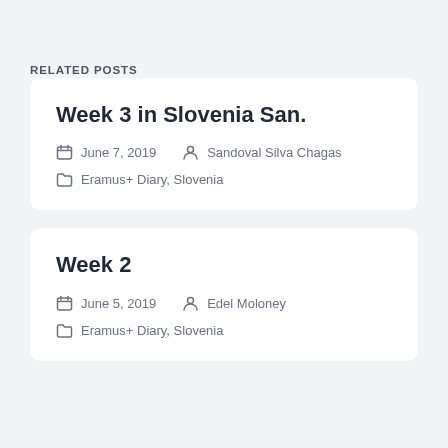RELATED POSTS
Week 3 in Slovenia San.
June 7, 2019  Sandoval Silva Chagas
Eramus+ Diary, Slovenia
Week 2
June 5, 2019  Edel Moloney
Eramus+ Diary, Slovenia